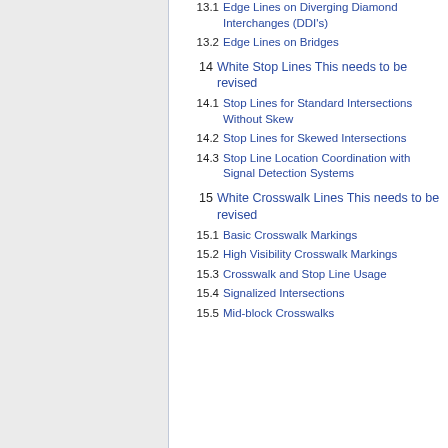13.1 Edge Lines on Diverging Diamond Interchanges (DDI's)
13.2 Edge Lines on Bridges
14 White Stop Lines This needs to be revised
14.1 Stop Lines for Standard Intersections Without Skew
14.2 Stop Lines for Skewed Intersections
14.3 Stop Line Location Coordination with Signal Detection Systems
15 White Crosswalk Lines This needs to be revised
15.1 Basic Crosswalk Markings
15.2 High Visibility Crosswalk Markings
15.3 Crosswalk and Stop Line Usage
15.4 Signalized Intersections
15.5 Mid-block Crosswalks